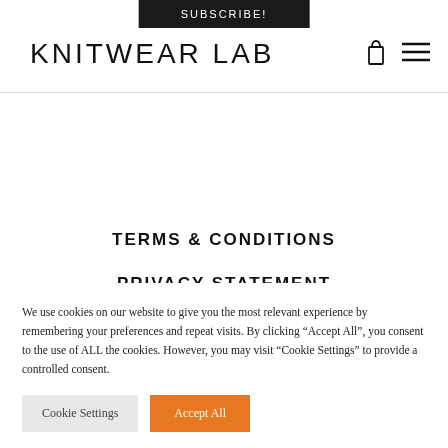SUBSCRIBE!
KNITWEAR LAB
TERMS & CONDITIONS
PRIVACY STATEMENT
We use cookies on our website to give you the most relevant experience by remembering your preferences and repeat visits. By clicking “Accept All”, you consent to the use of ALL the cookies. However, you may visit “Cookie Settings” to provide a controlled consent.
Cookie Settings | Accept All